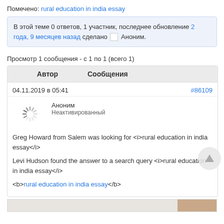Помечено: rural education in india essay
В этой теме 0 ответов, 1 участник, последнее обновление 2 года, 9 месяцев назад сделано Аноним.
Просмотр 1 сообщения - с 1 по 1 (всего 1)
| Автор | Сообщения |
| --- | --- |
| 04.11.2019 в 05:41 | #86109 |
| Аноним
Неактивированный | Greg Howard from Salem was looking for <i>rural education in india essay</i>

Levi Hudson found the answer to a search query <i>rural education in india essay</i>

<b>rural education in india essay</b> |
[Figure (other): Partial bottom image strip, partially visible]